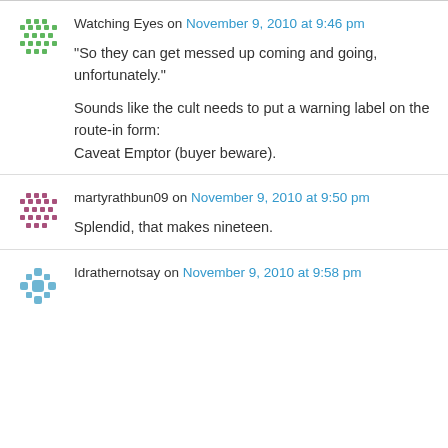Watching Eyes on November 9, 2010 at 9:46 pm
“So they can get messed up coming and going, unfortunately.”

Sounds like the cult needs to put a warning label on the route-in form:
Caveat Emptor (buyer beware).
martyrathbun09 on November 9, 2010 at 9:50 pm
Splendid, that makes nineteen.
Idrathernotsay on November 9, 2010 at 9:58 pm